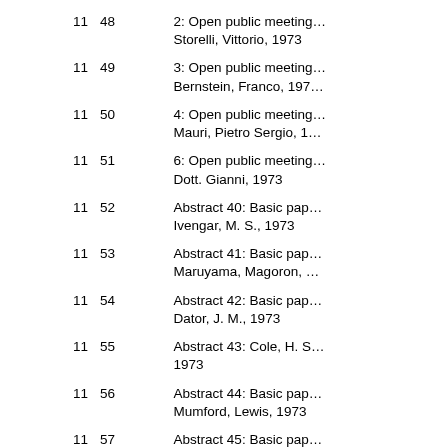| 11 | 48 | 2: Open public meeting…
Storelli, Vittorio, 1973 |
| 11 | 49 | 3: Open public meeting…
Bernstein, Franco, 197… |
| 11 | 50 | 4: Open public meeting…
Mauri, Pietro Sergio, 1… |
| 11 | 51 | 6: Open public meeting…
Dott. Gianni, 1973 |
| 11 | 52 | Abstract 40: Basic pap…
Ivengar, M. S., 1973 |
| 11 | 53 | Abstract 41: Basic pap…
Maruyama, Magoron, … |
| 11 | 54 | Abstract 42: Basic pap…
Dator, J. M., 1973 |
| 11 | 55 | Abstract 43: Cole, H. S…
1973 |
| 11 | 56 | Abstract 44: Basic pap…
Mumford, Lewis, 1973 |
| 11 | 57 | Abstract 45: Basic pap…
Guernier, Maurice, 197… |
| 11 | 58 | Abstract 47: Dror, Yeh…
1973 |